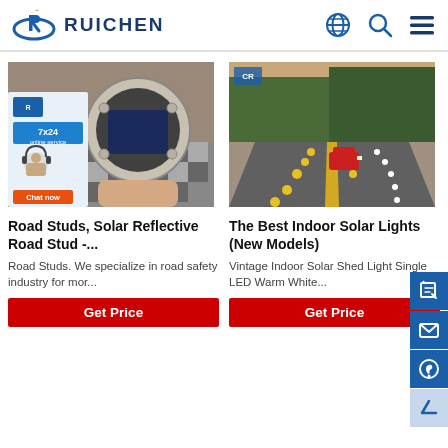RUICHEN
[Figure (photo): Close-up of a solar road stud being held in hand, showing circular device with solar panel inside, checkered floor background. Chat now overlay visible.]
[Figure (photo): Night road scene showing a car driving on a road with yellow and white solar road studs illuminated along the lane markings, trees in background.]
Road Studs, Solar Reflective Road Stud -...
The Best Indoor Solar Lights (New Models)
Road Studs. We specialize in road safety industry for mor...
Vintage Indoor Solar Shed Light Single LED Warm White...
Get Price
Get Price